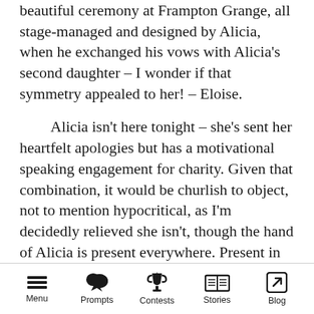beautiful ceremony at Frampton Grange, all stage-managed and designed by Alicia, when he exchanged his vows with Alicia's second daughter – I wonder if that symmetry appealed to her! – Eloise.
Alicia isn't here tonight – she's sent her heartfelt apologies but has a motivational speaking engagement for charity. Given that combination, it would be churlish to object, not to mention hypocritical, as I'm decidedly relieved she isn't, though the hand of Alicia is present everywhere. Present in the tasteful, rustic pink and white gingham table cloth that gives it that new twist by the gingham being
Menu  Prompts  Contests  Stories  Blog